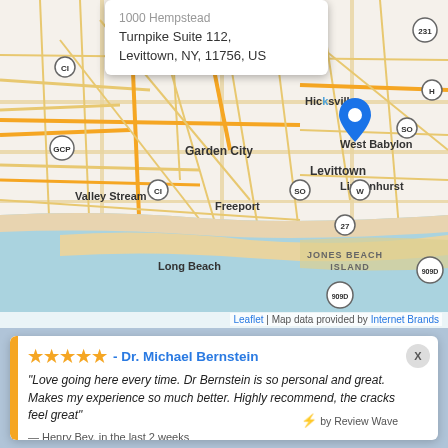[Figure (map): Map of Long Island NY area showing Levittown, Garden City, Valley Stream, Freeport, Long Beach, West Babylon, Lindenhurst, Jones Beach Island. Blue map pin dropped on Levittown. Road map with highway markers CI, GCP, SO, W, 27, 909D, H, 231.]
Turnpike Suite 112, Levittown, NY, 11756, US
Leaflet | Map data provided by Internet Brands
★★★★★ - Dr. Michael Bernstein
"Love going here every time. Dr Bernstein is so personal and great. Makes my experience so much better. Highly recommend, the cracks feel great"
— Henry Bey, in the last 2 weeks
⚡ by Review Wave